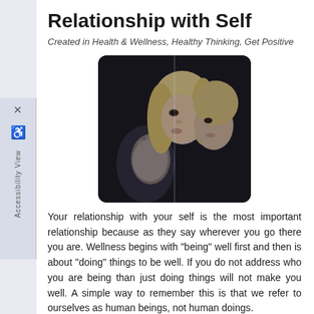Relationship with Self
Created in Health & Wellness, Healthy Thinking, Get Positive
[Figure (photo): A blonde woman touching a mirror, appearing to face her own reflection, photographed in dark, moody lighting.]
Your relationship with your self is the most important relationship because as they say wherever you go there you are. Wellness begins with "being" well first and then is about "doing" things to be well. If you do not address who you are being than just doing things will not make you well. A simple way to remember this is that we refer to ourselves as human beings, not human doings.